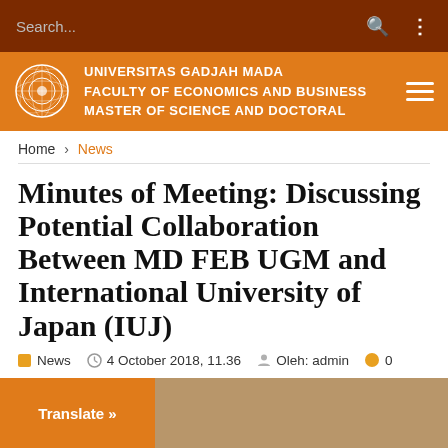Search...
UNIVERSITAS GADJAH MADA FACULTY OF ECONOMICS AND BUSINESS MASTER OF SCIENCE AND DOCTORAL
Home > News
Minutes of Meeting: Discussing Potential Collaboration Between MD FEB UGM and International University of Japan (IUJ)
News  4 October 2018, 11.36  Oleh: admin  0
[Figure (photo): Translate button and partial photo of meeting room]